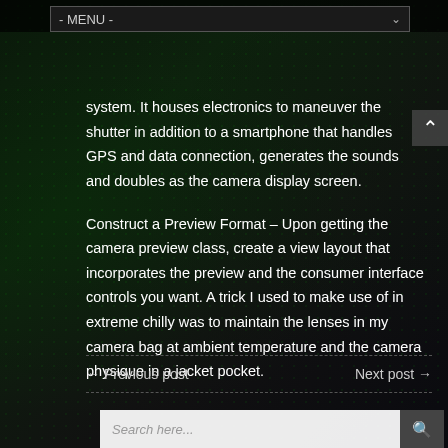- MENU -
system. It houses electronics to maneuver the shutter in addition to a smartphone that handles GPS and data connection, generates the sounds and doubles as the camera display screen.
Construct a Preview Format – Upon getting the camera preview class, create a view layout that incorporates the preview and the consumer interface controls you want. A trick I used to make use of in extreme chilly was to maintain the lenses in my camera bag at ambient temperature and the camera physique in a jacket pocket.
← Previous post    Next post →
Search here...